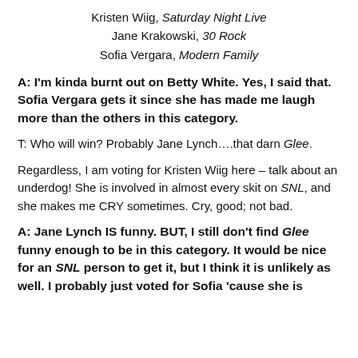Kristen Wiig, Saturday Night Live
Jane Krakowski, 30 Rock
Sofia Vergara, Modern Family
A: I'm kinda burnt out on Betty White.  Yes, I said that.  Sofia Vergara gets it since she has made me laugh more than the others in this category.
T: Who will win? Probably Jane Lynch….that darn Glee.
Regardless, I am voting for Kristen Wiig here – talk about an underdog!  She is involved in almost every skit on SNL, and she makes me CRY sometimes.  Cry, good; not bad.
A: Jane Lynch IS funny.  BUT, I still don't find Glee funny enough to be in this category.  It would be nice for an SNL person to get it, but I think it is unlikely as well.  I probably just voted for Sofia 'cause she is